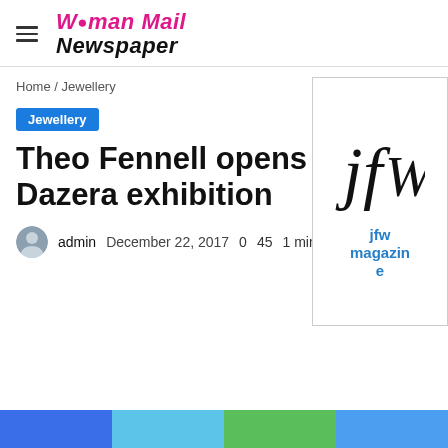Woman Mail Newspaper
Home / Jewellery
Jewellery
Theo Fennell opens Dazera exhibition
admin   December 22, 2017   0   45   1 minute
[Figure (logo): JFW magazine logo with stylized 'jfw' monogram text and label 'jfw magazine' in blue]
[Figure (other): Bottom color bar with four segments: blue, light blue, green, medium blue]